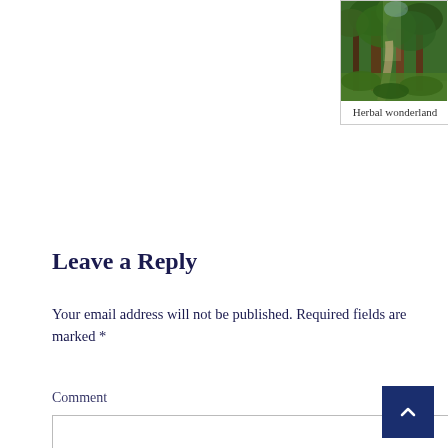[Figure (photo): A forest path with tall trees and lush green vegetation, sunlight filtering through.]
Herbal wonderland
Leave a Reply
Your email address will not be published. Required fields are marked *
Comment